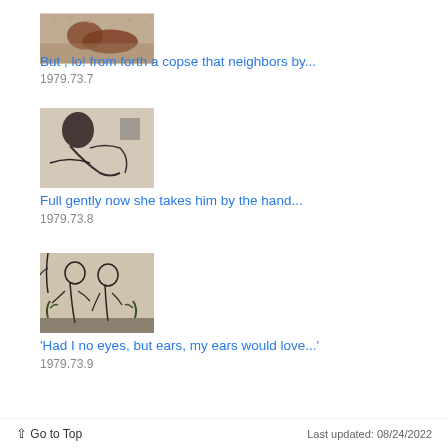[Figure (photo): Artwork thumbnail: reclining figure in earthy tones, decorative background]
But , lo! from forth a copse that neighbors by...
1979.73.7
[Figure (photo): Artwork thumbnail: sketch-style figure with dark hair, linear drawing]
Full gently now she takes him by the hand...
1979.73.8
[Figure (photo): Artwork thumbnail: two figures in a garden or outdoor setting, sketch style]
'Had I no eyes, but ears, my ears would love...'
1979.73.9
↑ Go to Top    Last updated: 08/24/2022